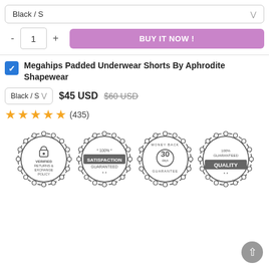Black / S
- 1 + BUY IT NOW !
Megahips Padded Underwear Shorts By Aphrodite Shapewear
Black / S  $45 USD  $60 USD
★★★★★ (435)
[Figure (infographic): Four circular badge icons: 'Verified Returns & Exchange Policy', '100% Satisfaction Guaranteed', 'Money Back Guarantee 30 days', '100% Guaranteed Quality']